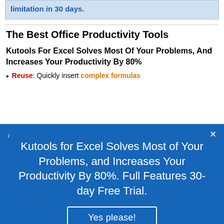limitation in 30 days.
The Best Office Productivity Tools
Kutools For Excel Solves Most Of Your Problems, And Increases Your Productivity By 80%
Reuse: Quickly insert complex formulas
Kutools for Excel Solves Most of Your Problems, and Increases Your Productivity By 80%. Full Features 30-day Free Trial.
Yes please!